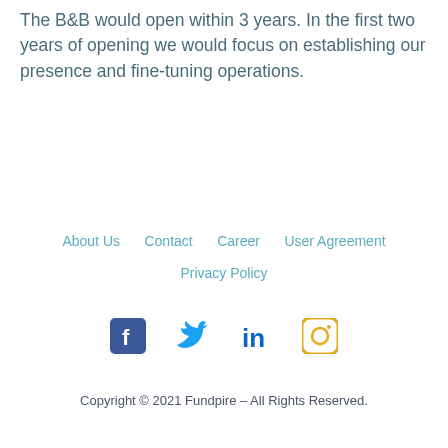The B&B would open within 3 years. In the first two years of opening we would focus on establishing our presence and fine-tuning operations.
About Us · Contact · Career · User Agreement · Privacy Policy
[Figure (other): Social media icons: Facebook, Twitter, LinkedIn, Instagram]
Copyright © 2021 Fundpire – All Rights Reserved.